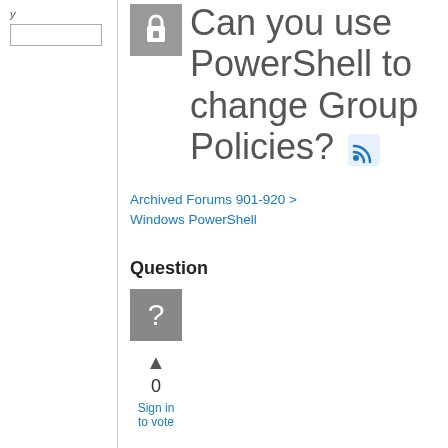Can you use PowerShell to change Group Policies?
Archived Forums 901-920 > Windows PowerShell
Question
0
Sign in to vote